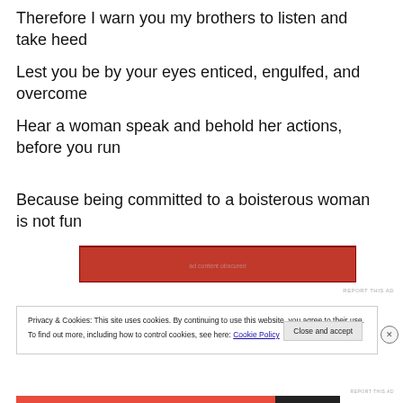Therefore I warn you my brothers to listen and take heed
Lest you be by your eyes enticed, engulfed, and overcome
Hear a woman speak and behold her actions, before you run
Because being committed to a boisterous woman is not fun
[Figure (other): Red advertisement banner with partially obscured text]
REPORT THIS AD
Privacy & Cookies: This site uses cookies. By continuing to use this website, you agree to their use.
To find out more, including how to control cookies, see here: Cookie Policy
Close and accept